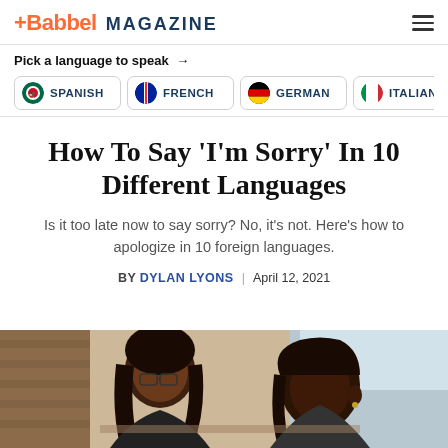+Babbel MAGAZINE
Pick a language to speak →
SPANISH
FRENCH
GERMAN
ITALIAN
How To Say 'I'm Sorry' In 10 Different Languages
Is it too late now to say sorry? No, it's not. Here's how to apologize in 10 foreign languages.
BY DYLAN LYONS | April 12, 2021
[Figure (photo): Two women sitting together, one with glasses looking down, the other with braided hair also looking down, in a café setting]